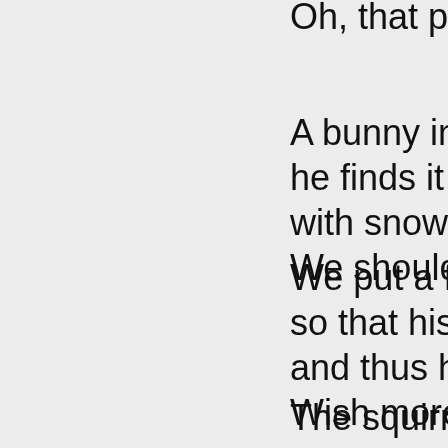Oh, that poor...
A bunny in the...
he finds it hard...
with snow all p...
We should all w...
We put a feede...
so that his pligh...
and thus his de...
Wish more wer...
The squirrel ha...
and she no Ch...